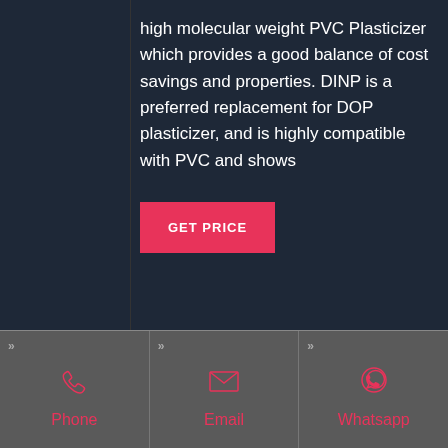high molecular weight PVC Plasticizer which provides a good balance of cost savings and properties. DINP is a preferred replacement for DOP plasticizer, and is highly compatible with PVC and shows
GET PRICE
[Figure (infographic): Footer bar with three contact options: Phone, Email, Whatsapp, each with icon and chevron markers, on dark gray background]